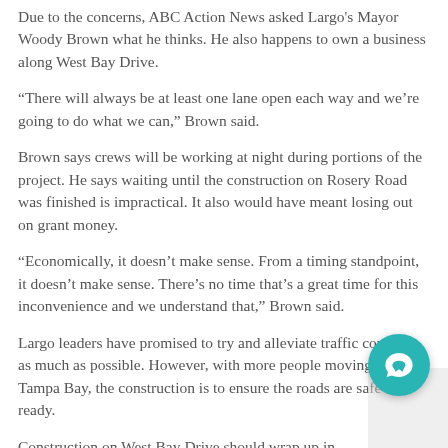Due to the concerns, ABC Action News asked Largo's Mayor Woody Brown what he thinks. He also happens to own a business along West Bay Drive.
“There will always be at least one lane open each way and we’re going to do what we can,” Brown said.
Brown says crews will be working at night during portions of the project. He says waiting until the construction on Rosery Road was finished is impractical. It also would have meant losing out on grant money.
“Economically, it doesn’t make sense. From a timing standpoint, it doesn’t make sense. There’s no time that’s a great time for this inconvenience and we understand that,” Brown said.
Largo leaders have promised to try and alleviate traffic concerns as much as possible. However, with more people moving to Tampa Bay, the construction is to ensure the roads are safe and ready.
Construction on West Bay Drive should wrap up in